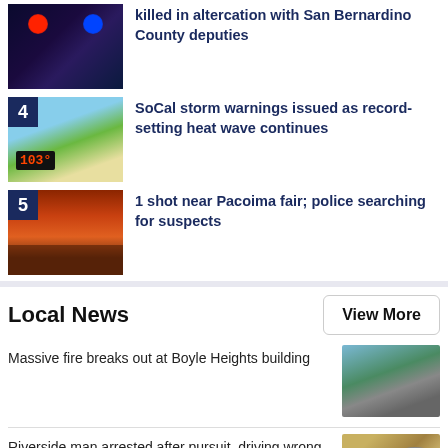killed in altercation with San Bernardino County deputies
4 SoCal storm warnings issued as record-setting heat wave continues
5 1 shot near Pacoima fair; police searching for suspects
Local News
View More
Massive fire breaks out at Boyle Heights building
Riverside man arrested after pursuit, driving wrong way on freeway